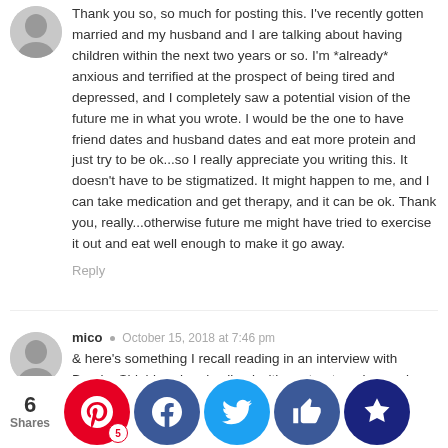Thank you so, so much for posting this. I've recently gotten married and my husband and I are talking about having children within the next two years or so. I'm *already* anxious and terrified at the prospect of being tired and depressed, and I completely saw a potential vision of the future me in what you wrote. I would be the one to have friend dates and husband dates and eat more protein and just try to be ok...so I really appreciate you writing this. It doesn't have to be stigmatized. It might happen to me, and I can take medication and get therapy, and it can be ok. Thank you, really...otherwise future me might have tried to exercise it out and eat well enough to make it go away.
Reply
mico  •  October 15, 2018 at 7:46 pm
& here's something I recall reading in an interview with Brooke Shields, who also lived with postpartum depression. She said ppd is a sneaky disease. It knows your weakness and it attacks at your weakest point–the thing that is most important to you. She's famous for difficult relationship with her mother, ppd made her share terribly with her. I don't really know
6 Shares